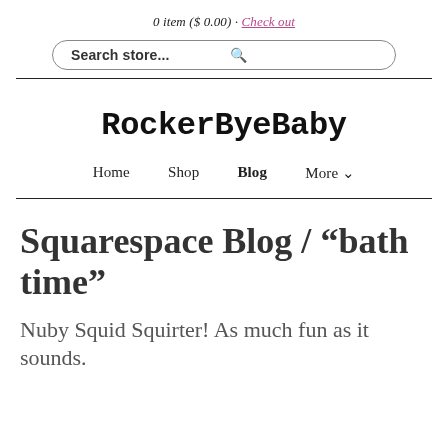0 item ($ 0.00) · Check out
[Figure (other): Search store... input box with search icon]
RockerByeBaby
Home
Shop
Blog
More ∨
Squarespace Blog / "bath time"
Nuby Squid Squirter! As much fun as it sounds.